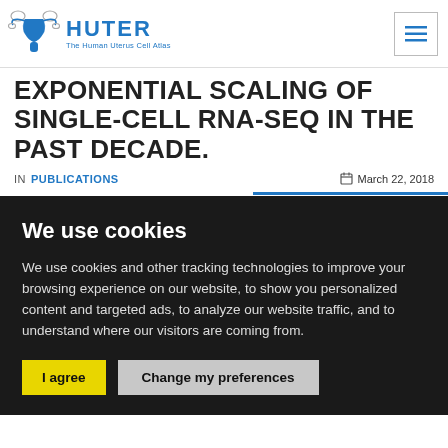HUTER – The Human Uterus Cell Atlas
EXPONENTIAL SCALING OF SINGLE-CELL RNA-SEQ IN THE PAST DECADE.
IN PUBLICATIONS  March 22, 2018
We use cookies
We use cookies and other tracking technologies to improve your browsing experience on our website, to show you personalized content and targeted ads, to analyze our website traffic, and to understand where our visitors are coming from.
I agree  Change my preferences